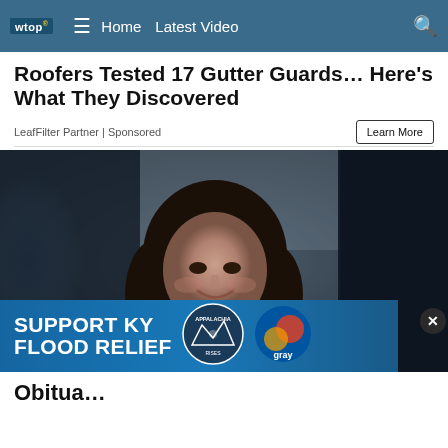wtop | Home | Latest Video
Roofers Tested 17 Gutter Guards… Here's What They Discovered
LeafFilter Partner | Sponsored
[Figure (photo): Black and white / muted color photograph of a smiling woman with dark shoulder-length hair, wearing a denim shirt, photographed in a moody, dimly lit setting]
[Figure (infographic): Banner advertisement: SUPPORT KY FLOOD RELIEF with Appalachia Rises logo and Gray television network logo]
Obitua...